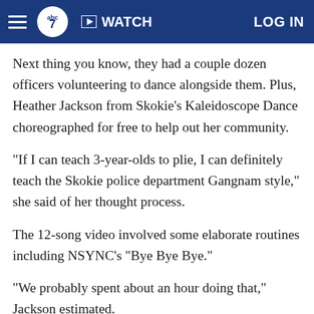abc7 | WATCH | LOG IN
Next thing you know, they had a couple dozen officers volunteering to dance alongside them. Plus, Heather Jackson from Skokie's Kaleidoscope Dance choreographed for free to help out her community.
"If I can teach 3-year-olds to plie, I can definitely teach the Skokie police department Gangnam style," she said of her thought process.
The 12-song video involved some elaborate routines including NSYNC's "Bye Bye Bye."
"We probably spent about an hour doing that," Jackson estimated.